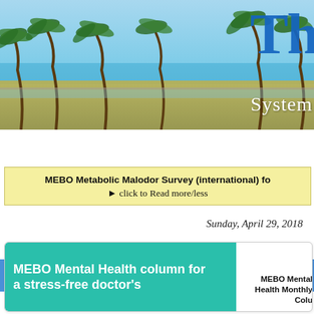[Figure (photo): Website header banner showing tropical beach scene with palm trees and ocean, with large blue 'Th' logo text and 'System' text overlay]
Home Page   About MEBO   Posts of note
MEBO Metabolic Malodor Survey (international) fo
▶ click to Read more/less
Sunday, April 29, 2018
MEBO Mental Health column for a stress-free doctor's
MEBO Mental Health Monthly Colu